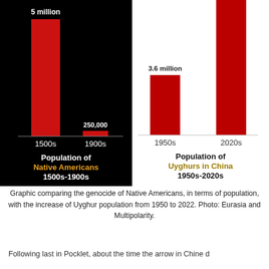[Figure (grouped-bar-chart): Population of Native Americans 1500s-1900s]
[Figure (bar-chart): Population of Uyghurs in China 1950s-2020s]
Graphic comparing the genocide of Native Americans, in terms of population, with the increase of Uyghur population from 1950 to 2022. Photo: Eurasia and Multipolarity.
Following last in Pocklet, about the time the arrow in Chine d...